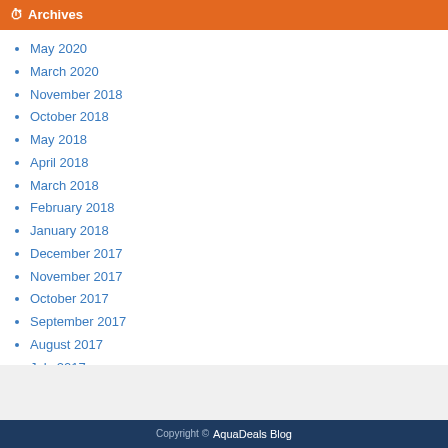Archives
May 2020
March 2020
November 2018
October 2018
May 2018
April 2018
March 2018
February 2018
January 2018
December 2017
November 2017
October 2017
September 2017
August 2017
July 2017
June 2017
May 2017
April 2017
March 2017
February 2017
AquaDeals Blog